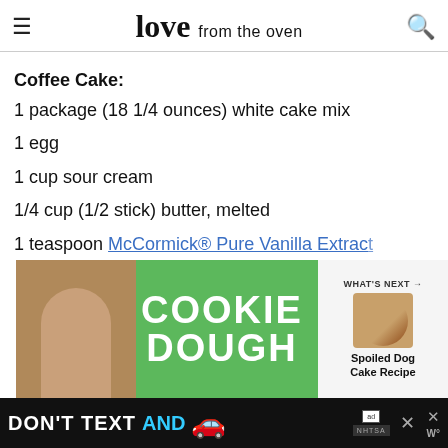love from the oven
Coffee Cake:
1 package (18 1/4 ounces) white cake mix
1 egg
1 cup sour cream
1/4 cup (1/2 stick) butter, melted
1 teaspoon McCormick® Pure Vanilla Extract
[Figure (screenshot): Cookie Dough advertisement banner with WHAT'S NEXT arrow pointing to Spoiled Dog Cake Recipe]
[Figure (screenshot): Bottom advertisement bar: DON'T TEXT AND with car emoji, NHTSA ad badge]